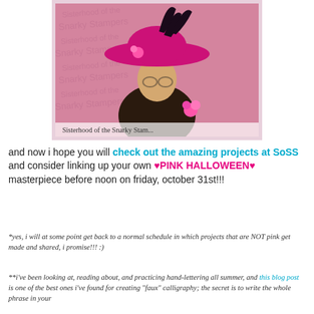[Figure (photo): Vintage photo of a woman wearing a large pink/magenta hat with feathers and flowers, dark clothing, with pink roses at shoulder. Background has pink watermark text 'Sisterhood of the Snarky Stampers'. Caption at bottom: 'Sisterhood of the Snarky Stamp...']
and now i hope you will check out the amazing projects at SoSS and consider linking up your own ♥PINK HALLOWEEN♥ masterpiece before noon on friday, october 31st!!!
*yes, i will at some point get back to a normal schedule in which projects that are NOT pink get made and shared, i promise!!! :)
**i've been looking at, reading about, and practicing hand-lettering all summer, and this blog post is one of the best ones i've found for creating "faux" calligraphy; the secret is to write the whole phrase in your